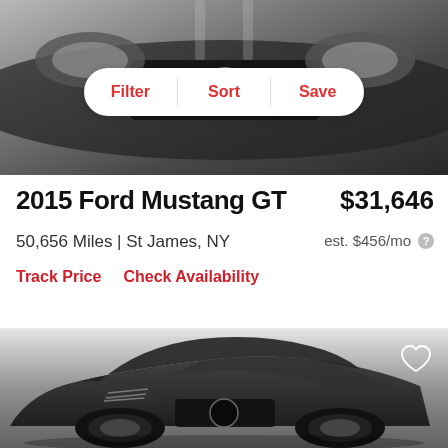[Figure (photo): Front view of a dark gray Ford Mustang GT, close-up of grille and headlights]
[Figure (infographic): Filter, Sort, Save navigation bar overlay on car image]
2015 Ford Mustang GT
$31,646
50,656 Miles | St James, NY
est. $456/mo
Track Price   Check Availability
[Figure (photo): Three-quarter front view of dark gray 2015 Ford Mustang GT on light gray background]